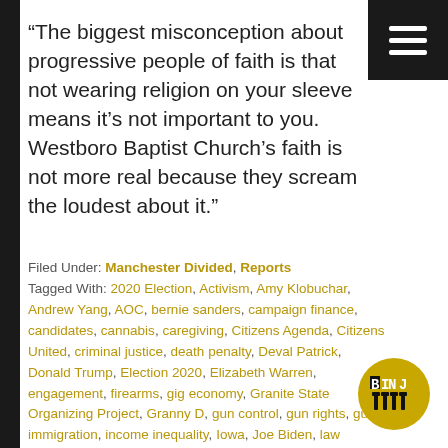“The biggest misconception about progressive people of faith is that not wearing religion on your sleeve means it’s not important to you. Westboro Baptist Church’s faith is not more real because they scream the loudest about it.”
Filed Under: Manchester Divided, Reports
Tagged With: 2020 Election, Activism, Amy Klobuchar, Andrew Yang, AOC, bernie sanders, campaign finance, candidates, cannabis, caregiving, Citizens Agenda, Citizens United, criminal justice, death penalty, Deval Patrick, Donald Trump, Election 2020, Elizabeth Warren, engagement, firearms, gig economy, Granite State Organizing Project, Granny D, gun control, gun rights, guns, immigration, income inequality, Iowa, Joe Biden, law enforcement, Life Without Parole, local media, Londonderry, LWOP, MAGA, manchester divided, merch, Michael Bloomberg, Michael Moore, money in politics,
[Figure (logo): BINJ logo - circular dark yellow/olive circle with BINJ text and four post/pin icons]